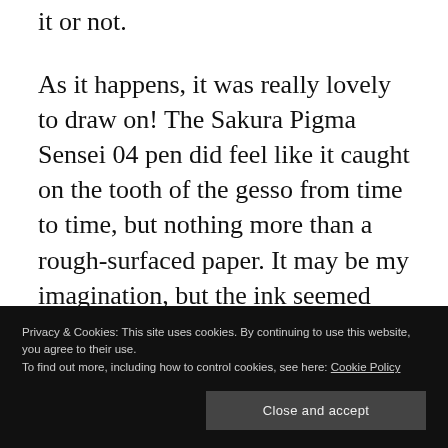it or not.
As it happens, it was really lovely to draw on! The Sakura Pigma Sensei 04 pen did feel like it caught on the tooth of the gesso from time to time, but nothing more than a rough-surfaced paper. It may be my imagination, but the ink seemed darker on the gesso, perhaps because it dries on the surface and doesn't sink into it, like it would with paper.
Privacy & Cookies: This site uses cookies. By continuing to use this website, you agree to their use.
To find out more, including how to control cookies, see here: Cookie Policy
Close and accept